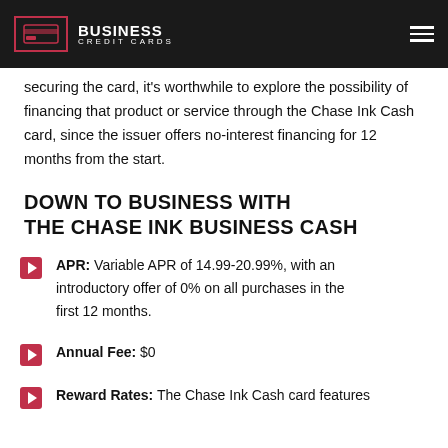BUSINESS CREDIT CARDS
securing the card, it's worthwhile to explore the possibility of financing that product or service through the Chase Ink Cash card, since the issuer offers no-interest financing for 12 months from the start.
DOWN TO BUSINESS WITH THE CHASE INK BUSINESS CASH
APR: Variable APR of 14.99-20.99%, with an introductory offer of 0% on all purchases in the first 12 months.
Annual Fee: $0
Reward Rates: The Chase Ink Cash card features